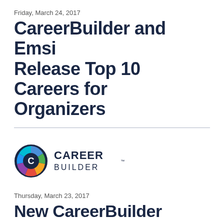Friday, March 24, 2017
CareerBuilder and Emsi Release Top 10 Careers for Organizers
[Figure (logo): CareerBuilder logo with colorful circular icon and bold text CAREER BUILDER]
Thursday, March 23, 2017
New CareerBuilder Study Debunks Major Myths Around Background Checks for Employers and Job Seekers